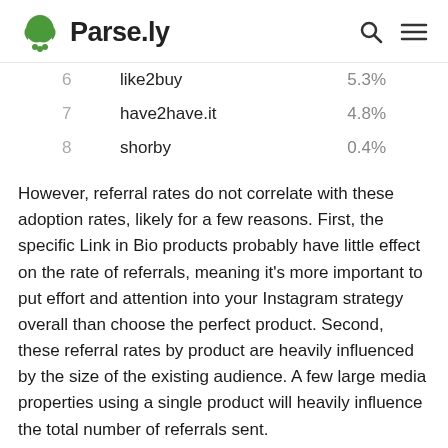Parse.ly
| # | Product | Rate |
| --- | --- | --- |
| 6 | like2buy | 5.3% |
| 7 | have2have.it | 4.8% |
| 8 | shorby | 0.4% |
However, referral rates do not correlate with these adoption rates, likely for a few reasons. First, the specific Link in Bio products probably have little effect on the rate of referrals, meaning it's more important to put effort and attention into your Instagram strategy overall than choose the perfect product. Second, these referral rates by product are heavily influenced by the size of the existing audience. A few large media properties using a single product will heavily influence the total number of referrals sent.